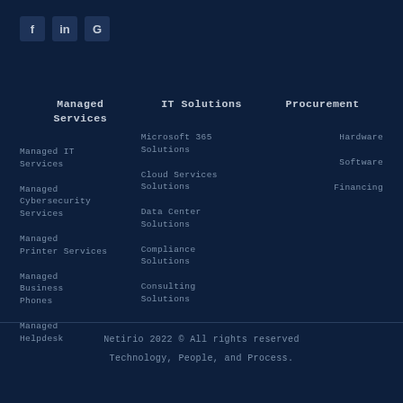[Figure (illustration): Social media icons row: Facebook (f), LinkedIn (in), Google (G) as small rounded square buttons]
Managed Services
IT Solutions
Procurement
Managed IT Services
Managed Cybersecurity Services
Managed Printer Services
Managed Business Phones
Managed Helpdesk
Microsoft 365 Solutions
Cloud Services Solutions
Data Center Solutions
Compliance Solutions
Consulting Solutions
Hardware
Software
Financing
Netirio 2022 © All rights reserved Technology, People, and Process.